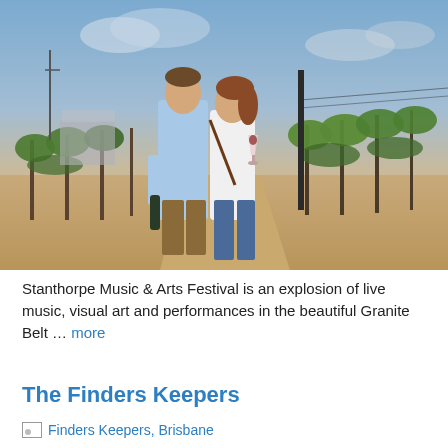[Figure (photo): A couple walking through vineyard rows at sunset, the man in a light blue shirt holding a wine bottle, the woman in a white top and jeans holding a red wine glass, green grapevines on both sides, golden/blue sky in background.]
Stanthorpe Music & Arts Festival is an explosion of live music, visual art and performances in the beautiful Granite Belt … more
The Finders Keepers
[Figure (photo): Finders Keepers, Brisbane — image placeholder with link text]